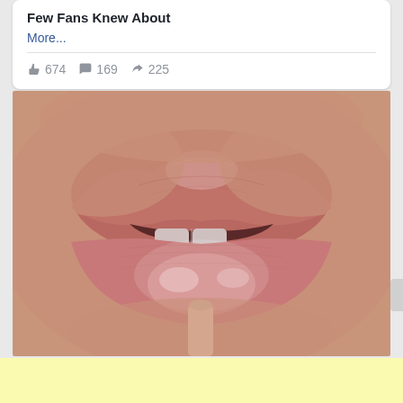Few Fans Knew About
More...
👍 674  💬 169  ➤ 225
[Figure (photo): Close-up photo of glossy lips being touched by a lip gloss applicator wand. The lips are full, rosy-pink with a shiny gloss finish. An applicator brush touches the center of the lower lip.]
[Figure (other): Light yellow advertisement block at the bottom of the page.]